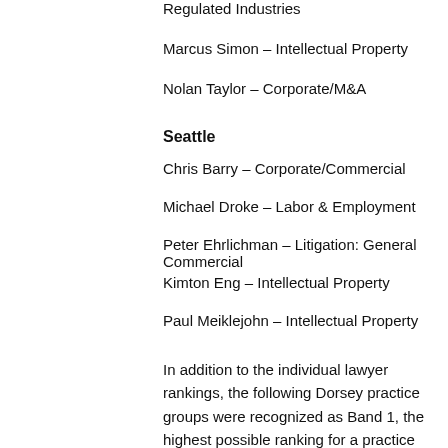Regulated Industries
Marcus Simon – Intellectual Property
Nolan Taylor – Corporate/M&A
Seattle
Chris Barry – Corporate/Commercial
Michael Droke – Labor & Employment
Peter Ehrlichman – Litigation: General Commercial
Kimton Eng – Intellectual Property
Paul Meiklejohn – Intellectual Property
In addition to the individual lawyer rankings, the following Dorsey practice groups were recognized as Band 1, the highest possible ranking for a practice group awarded by Chambers:
Anchorage
Corporate/M&A
Litigation: General Commercial